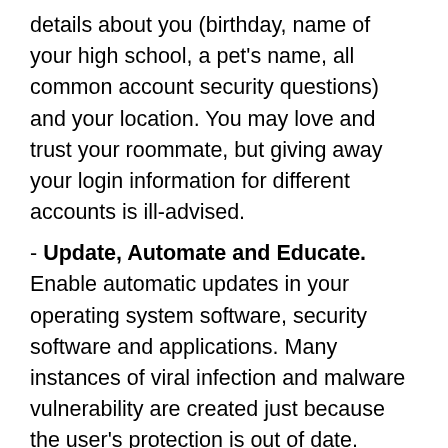details about you (birthday, name of your high school, a pet's name, all common account security questions) and your location. You may love and trust your roommate, but giving away your login information for different accounts is ill-advised.
- Update, Automate and Educate. Enable automatic updates in your operating system software, security software and applications. Many instances of viral infection and malware vulnerability are created just because the user's protection is out of date. Remember, all of the protection in the world won't save you from yourself.
And, keep these basics in mind at all times:
Don't open attachments that you aren't positive are OK; attachments are one of the most common